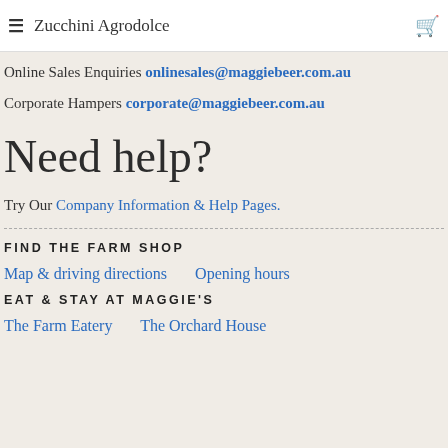≡  Zucchini Agrodolce
Online Sales Enquiries onlinesales@maggiebeer.com.au
Corporate Hampers corporate@maggiebeer.com.au
Need help?
Try Our Company Information & Help Pages.
FIND THE FARM SHOP
Map & driving directions   Opening hours
EAT & STAY AT MAGGIE'S
The Farm Eatery   The Orchard House